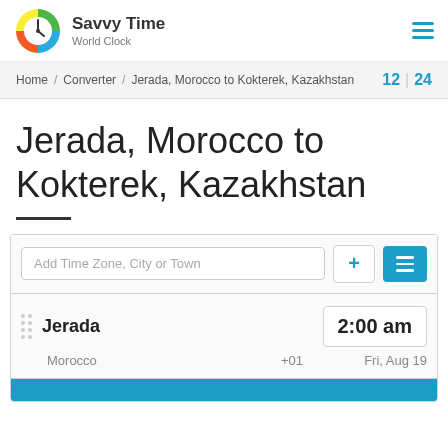Savvy Time World Clock
Home / Converter / Jerada, Morocco to Kokterek, Kazakhstan  12 | 24
Jerada, Morocco to Kokterek, Kazakhstan
Add Time Zone, City or Town
| City | Time | Details |
| --- | --- | --- |
| Jerada | 2:00 am | Morocco | +01 | Fri, Aug 19 |